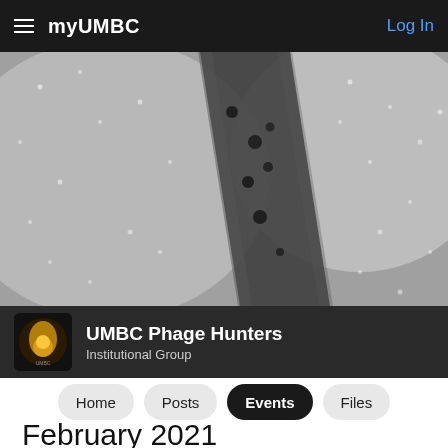myUMBC   Log In
[Figure (photo): Grayscale electron microscopy image showing a bacteriophage plaque assay — a dark diagonal tube or cylinder with small round plaques/dots scattered across the surface, against a light gray background]
UMBC Phage Hunters
Institutional Group
Home   Posts   Events   Files
February 2021